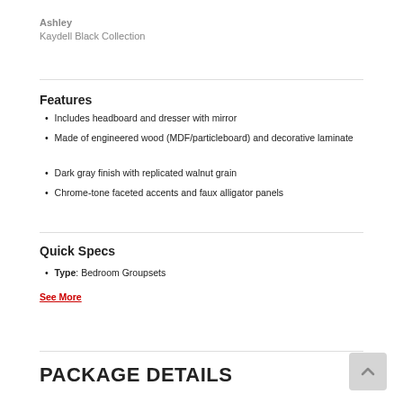Ashley
Kaydell Black Collection
Features
Includes headboard and dresser with mirror
Made of engineered wood (MDF/particleboard) and decorative laminate
Dark gray finish with replicated walnut grain
Chrome-tone faceted accents and faux alligator panels
Quick Specs
Type: Bedroom Groupsets
See More
PACKAGE DETAILS